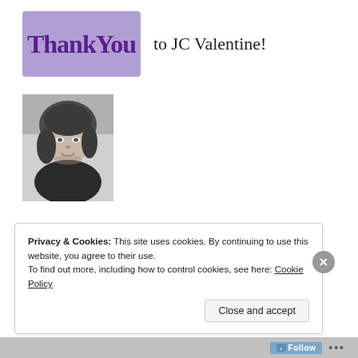[Figure (logo): Purple/lavender background box with 'Thank You' written in dark purple handwritten/comic style font]
Thank You to JC Valentine!
[Figure (photo): Black and white photo of a woman with dark hair, looking at camera, casual pose]
Privacy & Cookies: This site uses cookies. By continuing to use this website, you agree to their use.
To find out more, including how to control cookies, see here: Cookie Policy
Close and accept